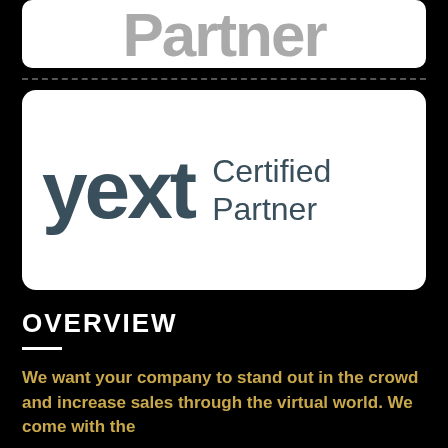[Figure (logo): Partial text 'Partner' in large grey bold letters on white rounded rectangle background]
[Figure (logo): Yext Certified Partner logo on white rounded rectangle background. 'yext' in large dark teal bold font, 'Certified Partner' in smaller dark teal font to the right.]
OVERVIEW
We want your company to stand out in the crowd and increase sales through the virtual world. We come with the